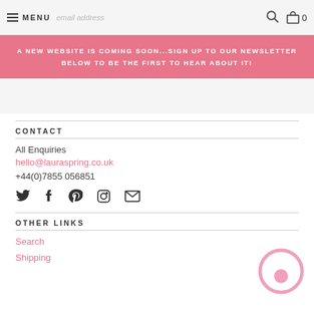MENU   email address   🔍  🛒 0
A NEW WEBSITE IS COMING SOON...SIGN UP TO OUR NEWSLETTER BELOW TO BE THE FIRST TO HEAR ABOUT IT!
CONTACT
All Enquiries
hello@lauraspring.co.uk
+44(0)7855 056851
[Figure (infographic): Social media icons: Twitter, Facebook, Pinterest, Instagram, Email]
OTHER LINKS
Search
Shipping
[Figure (illustration): Pink circular chat/messenger widget icon in bottom right corner]